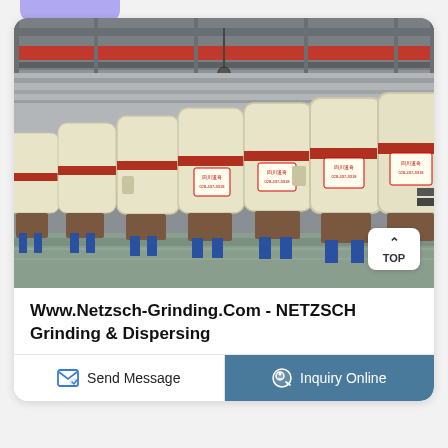[Figure (photo): Industrial grinding mill machines (multiple large cream/yellow cylindrical Raymond mills with red stripe bands) in a factory floor, arranged in a row. Blue steel frames, red overhead crane structure, concrete roof with pipes and beams. A 'TOP' button overlay appears on the lower right of the image.]
Www.Netzsch-Grinding.Com - NETZSCH Grinding & Dispersing
Send Message
Inquiry Online